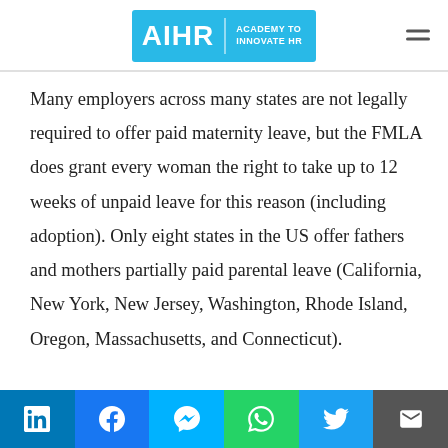AIHR | ACADEMY TO INNOVATE HR
Many employers across many states are not legally required to offer paid maternity leave, but the FMLA does grant every woman the right to take up to 12 weeks of unpaid leave for this reason (including adoption). Only eight states in the US offer fathers and mothers partially paid parental leave (California, New York, New Jersey, Washington, Rhode Island, Oregon, Massachusetts, and Connecticut).
LinkedIn | Facebook | Messenger | WhatsApp | Twitter | Email